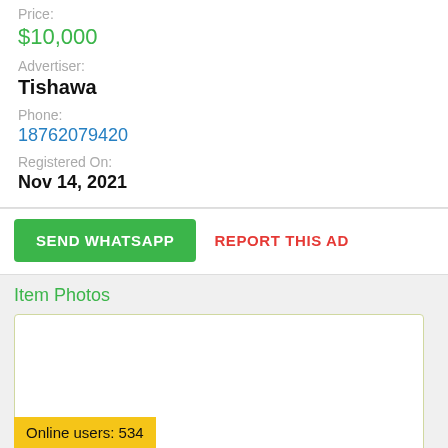Price:
$10,000
Advertiser:
Tishawa
Phone:
18762079420
Registered On:
Nov 14, 2021
SEND WHATSAPP
REPORT THIS AD
Item Photos
[Figure (photo): Empty white photo box placeholder]
Online users: 534